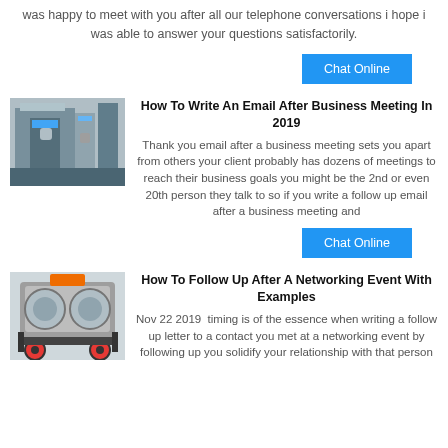was happy to meet with you after all our telephone conversations i hope i was able to answer your questions satisfactorily.
Chat Online
[Figure (photo): Industrial machine in a factory setting, blue and grey machinery]
How To Write An Email After Business Meeting In 2019
Thank you email after a business meeting sets you apart from others your client probably has dozens of meetings to reach their business goals you might be the 2nd or even 20th person they talk to so if you write a follow up email after a business meeting and
Chat Online
[Figure (photo): Industrial crusher machine with orange and red components on black frame]
How To Follow Up After A Networking Event With Examples
Nov 22 2019  timing is of the essence when writing a follow up letter to a contact you met at a networking event by following up you solidify your relationship with that person